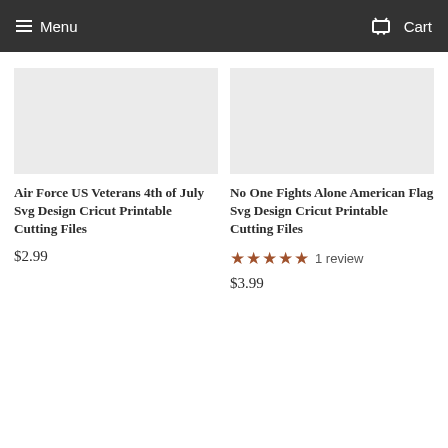Menu  Cart
Air Force US Veterans 4th of July Svg Design Cricut Printable Cutting Files
$2.99
No One Fights Alone American Flag Svg Design Cricut Printable Cutting Files
1 review
$3.99